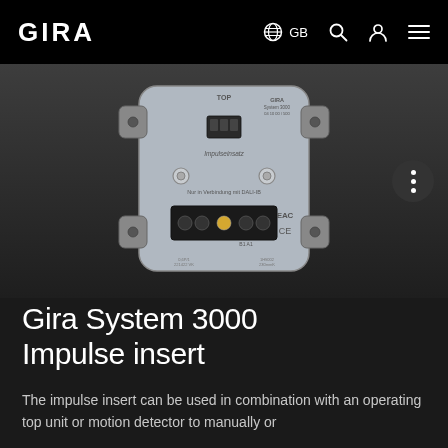GIRA   GB
[Figure (photo): Back view of a Gira System 3000 Impulse insert electrical module showing terminals, mounting tabs, regulatory markings (CE, EAC), and printed labels including 'Impulseinsatz' and 'Nur in Verbindung mit DALI-IB']
Gira System 3000 Impulse insert
The impulse insert can be used in combination with an operating top unit or motion detector to manually or